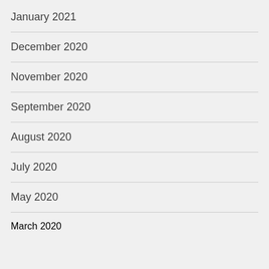January 2021
December 2020
November 2020
September 2020
August 2020
July 2020
May 2020
March 2020